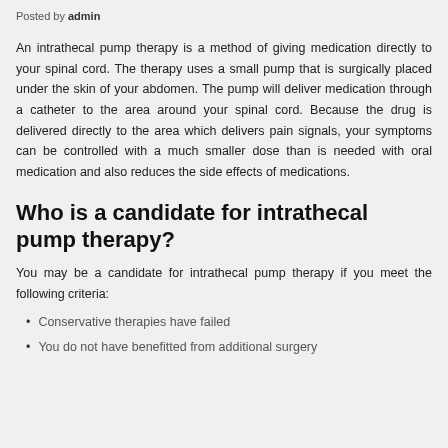Posted by admin
An intrathecal pump therapy is a method of giving medication directly to your spinal cord. The therapy uses a small pump that is surgically placed under the skin of your abdomen. The pump will deliver medication through a catheter to the area around your spinal cord. Because the drug is delivered directly to the area which delivers pain signals, your symptoms can be controlled with a much smaller dose than is needed with oral medication and also reduces the side effects of medications.
Who is a candidate for intrathecal pump therapy?
You may be a candidate for intrathecal pump therapy if you meet the following criteria:
Conservative therapies have failed
You do not have benefitted from additional surgery